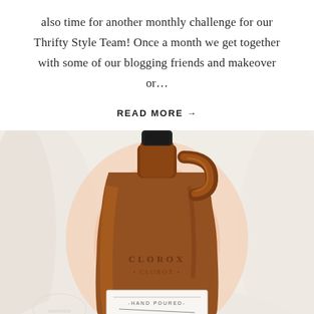also time for another monthly challenge for our Thrifty Style Team! Once a month we get together with some of our blogging friends and makeover or...
READ MORE →
[Figure (photo): A vintage amber glass Clorox bottle repurposed with a white label reading '-HAND POURED- BLEACH', photographed against a white draped fabric background.]